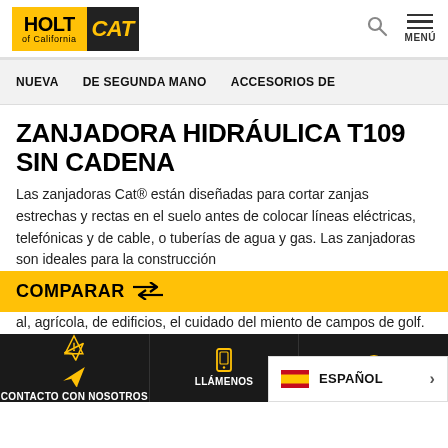[Figure (logo): Holt of California CAT logo header with search and menu icons]
NUEVA   DE SEGUNDA MANO   ACCESORIOS DE
ZANJADORA HIDRÁULICA T109 SIN CADENA
Las zanjadoras Cat® están diseñadas para cortar zanjas estrechas y rectas en el suelo antes de colocar líneas eléctricas, telefónicas y de cable, o tuberías de agua y gas. Las zanjadoras son ideales para la construcción al, agrícola, de edificios, el cuidado del miento de campos de golf.
CONTACTO CON NOSOTROS   LLÁMENOS   ESPAÑOL